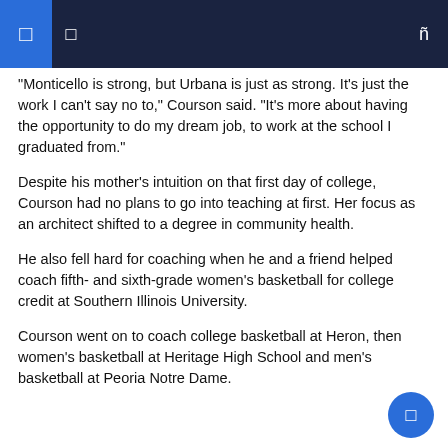“Monticello is strong, but Urbana is just as strong. It’s just the work I can’t say no to,” Courson said. “It’s more about having the opportunity to do my dream job, to work at the school I graduated from.”
Despite his mother’s intuition on that first day of college, Courson had no plans to go into teaching at first. Her focus as an architect shifted to a degree in community health.
He also fell hard for coaching when he and a friend helped coach fifth- and sixth-grade women’s basketball for college credit at Southern Illinois University.
Courson went on to coach college basketball at Heron, then women’s basketball at Heritage High School and men’s basketball at Peoria Notre Dame.